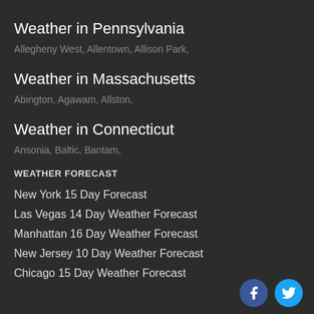Weather in Pennsylvania
Allegheny West, Allentown, Allison Park,
Weather in Massachusetts
Abington, Agawam, Allston,
Weather in Connecticut
Ansonia, Baltic, Bantam,
WEATHER FORECAST
New York 15 Day Forecast
Las Vegas 14 Day Weather Forecast
Manhattan 16 Day Weather Forecast
New Jersey 10 Day Weather Forecast
Chicago 15 Day Weather Forecast